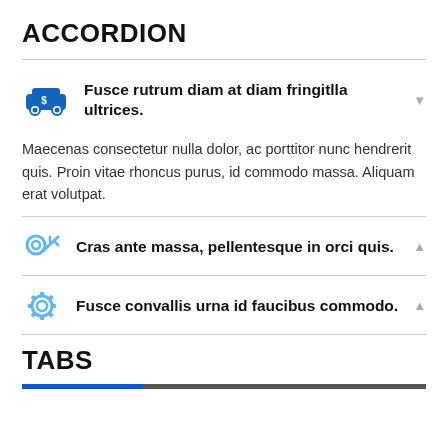ACCORDION
Fusce rutrum diam at diam fringitlla ultrices.
Maecenas consectetur nulla dolor, ac porttitor nunc hendrerit quis. Proin vitae rhoncus purus, id commodo massa. Aliquam erat volutpat.
Cras ante massa, pellentesque in orci quis.
Fusce convallis urna id faucibus commodo.
TABS